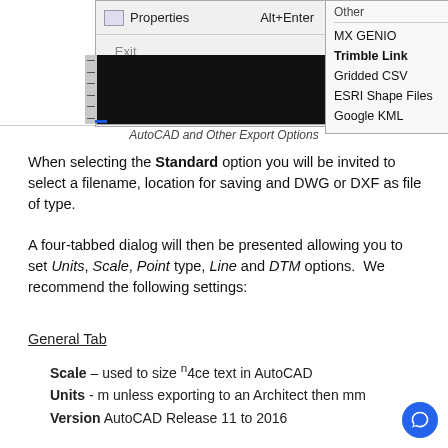[Figure (screenshot): Screenshot of AutoCAD export menu showing Properties with Alt+Enter shortcut, Exit option on the left panel, and Other submenu with MX GENIO, Trimble Link, Gridded CSV, ESRI Shape Files, Google KML options on the right panel. Below the menu is a black AutoCAD drawing area with a ruler on the left side.]
AutoCAD and Other Export Options
When selecting the Standard option you will be invited to select a filename, location for saving and DWG or DXF as file of type.
A four-tabbed dialog will then be presented allowing you to set Units, Scale, Point type, Line and DTM options.  We recommend the following settings:
General Tab
Scale – used to size ⁿ4ce text in AutoCAD
Units - m unless exporting to an Architect then mm
Version AutoCAD Release 11 to 2016